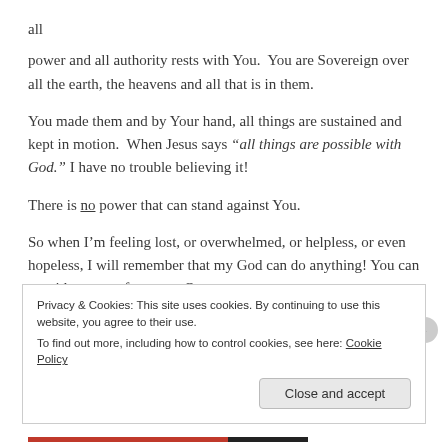all
power and all authority rests with You.  You are Sovereign over all the earth, the heavens and all that is in them.
You made them and by Your hand, all things are sustained and kept in motion.  When Jesus says “all things are possible with God.” I have no trouble believing it!
There is no power that can stand against You.
So when I’m feeling lost, or overwhelmed, or helpless, or even hopeless, I will remember that my God can do anything! You can provide a way of escape.  Or move
Privacy & Cookies: This site uses cookies. By continuing to use this website, you agree to their use.
To find out more, including how to control cookies, see here: Cookie Policy
Close and accept